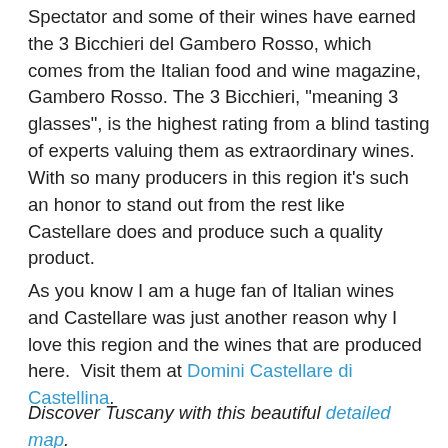Spectator and some of their wines have earned the 3 Bicchieri del Gambero Rosso, which comes from the Italian food and wine magazine, Gambero Rosso. The 3 Bicchieri, "meaning 3 glasses", is the highest rating from a blind tasting of experts valuing them as extraordinary wines. With so many producers in this region it's such an honor to stand out from the rest like Castellare does and produce such a quality product.
As you know I am a huge fan of Italian wines and Castellare was just another reason why I love this region and the wines that are produced here.  Visit them at Domini Castellare di Castellina.
Discover Tuscany with this beautiful detailed map.